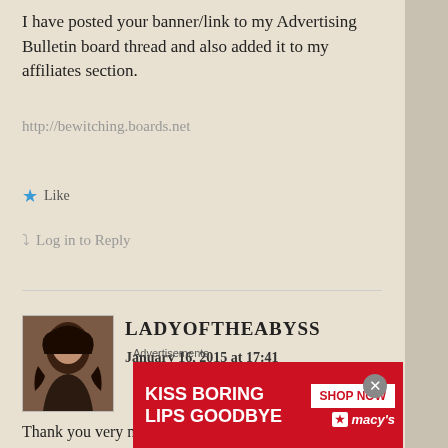I have posted your banner/link to my Advertising Bulletin board thread and also added it to my affiliates section.
http://bewitching.boards.net
Like
Log in to Reply
LADYOFTHEABYSS
January 16, 2015 at 17:41
[Figure (photo): Avatar photo of commenter LadyOfTheAbyss, a woman with long dark hair]
Thank you very much. This is excellent news. I looked over your site and it is absolutely beautiful and well put
[Figure (infographic): Advertisement banner: KISS BORING LIPS GOODBYE - SHOP NOW - macys]
Advertisements